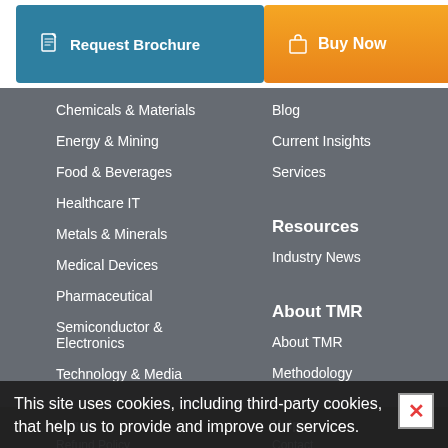Request Brochure
Buy Now
Chemicals & Materials
Energy & Mining
Food & Beverages
Healthcare IT
Metals & Minerals
Medical Devices
Pharmaceutical
Semiconductor & Electronics
Technology & Media
Blog
Current Insights
Services
Resources
Industry News
About TMR
About TMR
Methodology
Legal
Help
This site uses cookies, including third-party cookies, that help us to provide and improve our services.
Privacy Policy
I AGREE